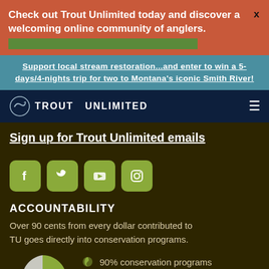Check out Trout Unlimited today and discover a welcoming online community of anglers.
Support local stream restoration...and enter to win a 5-days/4-nights trip for two to Montana's iconic Smith River!
[Figure (logo): Trout Unlimited logo with fish icon and text TROUT UNLIMITED]
Sign up for Trout Unlimited emails
[Figure (infographic): Social media icons: Facebook, Twitter, YouTube, Instagram in green rounded square buttons]
ACCOUNTABILITY
Over 90 cents from every dollar contributed to TU goes directly into conservation programs.
[Figure (pie-chart): Pie chart showing conservation program breakdown]
90% conservation programs
6% fundraising